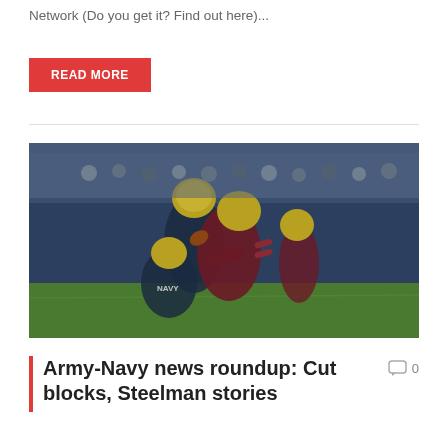Network (Do you get it? Find out here)...
READ MORE
[Figure (photo): Football game action photo showing Navy and Army players in a tackle/block during the Army-Navy game. Players in navy blue and gold helmets (Navy) and maroon/white (Army) uniforms are engaged in a play on the field, with a crowd visible in the background bleachers.]
Army-Navy news roundup: Cut blocks, Steelman stories
0